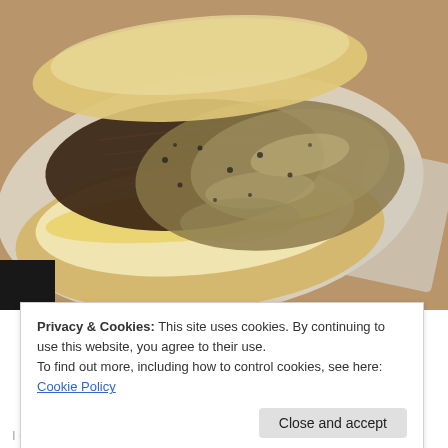[Figure (photo): Close-up photo of a cheesesteak sandwich on wax paper, topped with chopped meat, sautéed onions and mushrooms, with heavy black pepper visible]
Privacy & Cookies: This site uses cookies. By continuing to use this website, you agree to their use.
To find out more, including how to control cookies, see here: Cookie Policy
Close and accept
I got a little crazy with the pepper shaker on this one, but I